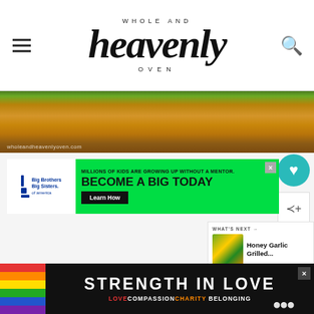Whole and Heavenly Oven
[Figure (photo): Close-up photo of roasted/baked chicken or similar golden-brown food with watermark text 'wholeandheavenlyoven.com']
[Figure (infographic): Green advertisement banner: Big Brothers Big Sisters of America - 'MILLIONS OF KIDS ARE GROWING UP WITHOUT A MENTOR. BECOME A BIG TODAY' with Learn How button]
[Figure (photo): What's Next widget showing Honey Garlic Grilled... with thumbnail of a colorful salad bowl]
[Figure (infographic): Bottom advertisement: black background with 'STRENGTH IN LOVE' in white text, 'LOVE COMPASSION CHARITY BELONGING' in colored text, with rainbow stripe on left and close button]